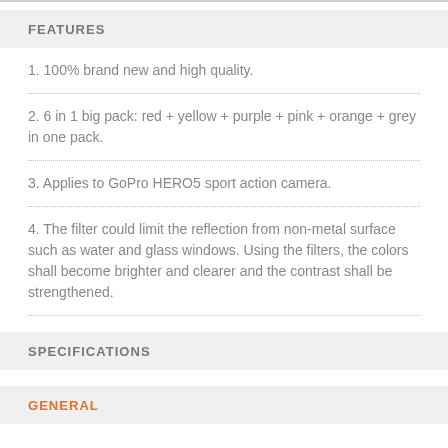FEATURES
1. 100% brand new and high quality.
2. 6 in 1 big pack: red + yellow + purple + pink + orange + grey in one pack.
3. Applies to GoPro HERO5 sport action camera.
4. The filter could limit the reflection from non-metal surface such as water and glass windows. Using the filters, the colors shall become brighter and clearer and the contrast shall be strengthened.
SPECIFICATIONS
GENERAL